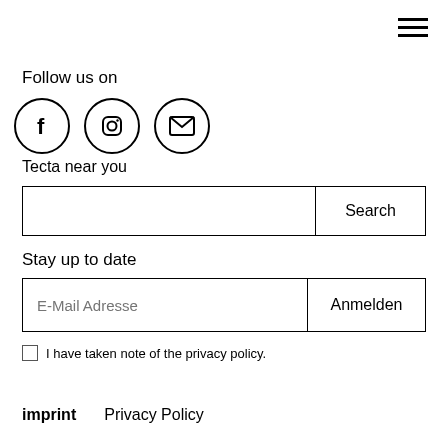[Figure (other): Hamburger menu icon (three horizontal lines) in top-right corner]
Follow us on
[Figure (other): Three social media icons in circles: Facebook (f), Instagram (camera), Email (envelope)]
Tecta near you
Search
Stay up to date
E-Mail Adresse
Anmelden
I have taken note of the privacy policy.
imprint   Privacy Policy